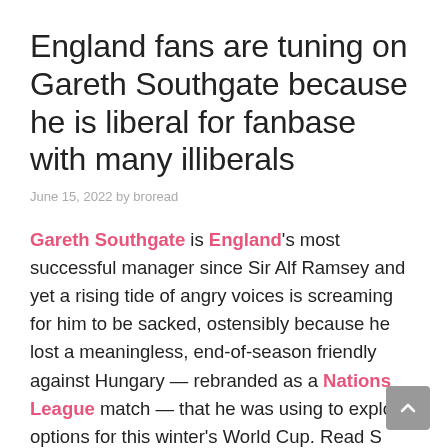England fans are tuning on Gareth Southgate because he is liberal for fanbase with many illiberals
June 15, 2022 by broread
Gareth Southgate is England's most successful manager since Sir Alf Ramsey and yet a rising tide of angry voices is screaming for him to be sacked, ostensibly because he lost a meaningless, end-of-season friendly against Hungary — rebranded as a Nations League match — that he was using to explore options for this winter's World Cup. Read S...